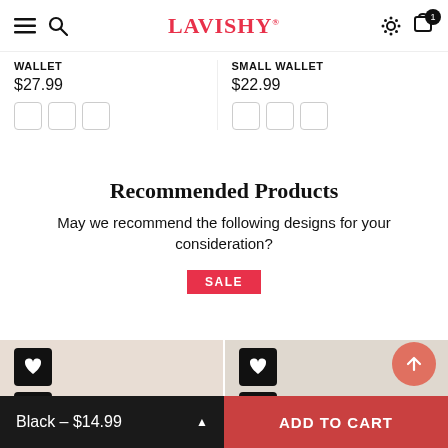LAVISHY
WALLET
$27.99
SMALL WALLET
$22.99
Recommended Products
May we recommend the following designs for your consideration?
SALE
Black – $14.99
ADD TO CART